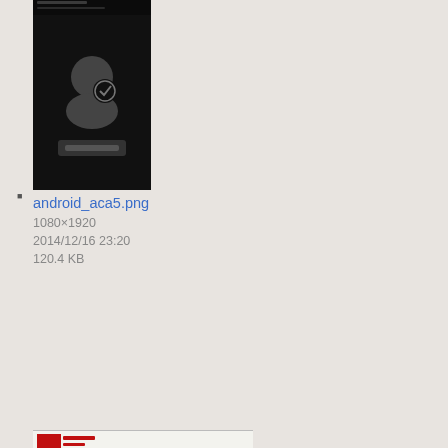android_aca5.png
1080×1920
2014/12/16 23:20
120.4 KB
android_acaemail.png
608×357
2015/01/08 01:10
27.3 KB
android_account_details_screen.png
1197×813
2014/10/08 19:42